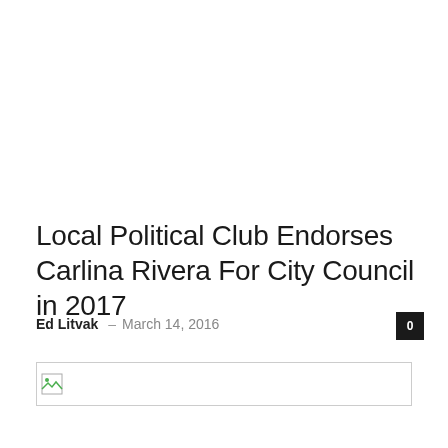Local Political Club Endorses Carlina Rivera For City Council in 2017
Ed Litvak · March 14, 2016
[Figure (photo): Broken image placeholder with small icon in top-left corner]